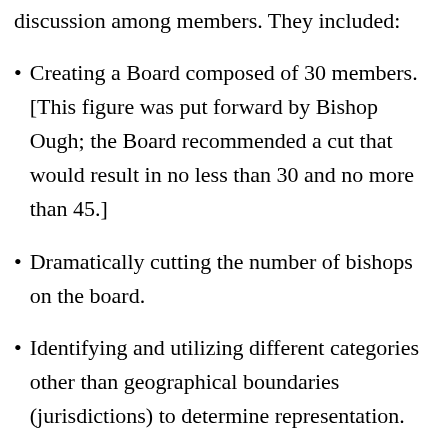discussion among members. They included:
Creating a Board composed of 30 members. [This figure was put forward by Bishop Ough; the Board recommended a cut that would result in no less than 30 and no more than 45.]
Dramatically cutting the number of bishops on the board.
Identifying and utilizing different categories other than geographical boundaries (jurisdictions) to determine representation.
Developing and utilizing a system of rotating